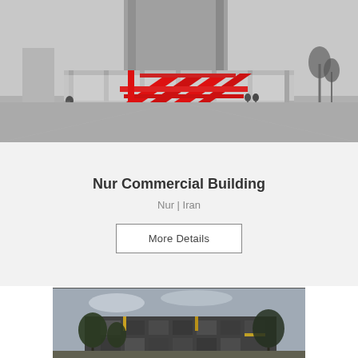[Figure (photo): Black and white architectural rendering of a modernist commercial building with red sculptural staircase/ramp elements visible through glass facade. People walking in foreground plaza, palm trees on right side.]
Nur Commercial Building
Nur | Iran
More Details
[Figure (photo): Color photograph of a contemporary residential or mixed-use building with dark modular facade elements, trees in foreground, overcast sky.]